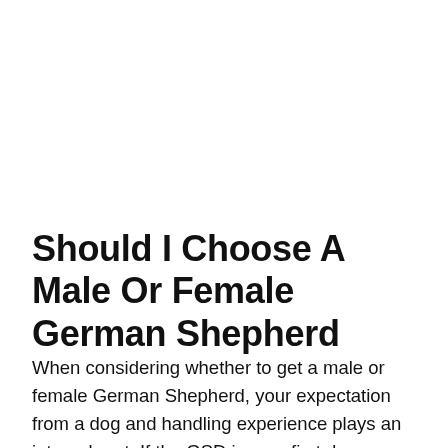Should I Choose A Male Or Female German Shepherd
When considering whether to get a male or female German Shepherd, your expectation from a dog and handling experience plays an integral part. If the GSD is your first dog or you have kids at home, females may be easier to handle. But if youre looking for a guard dog or working dog, male